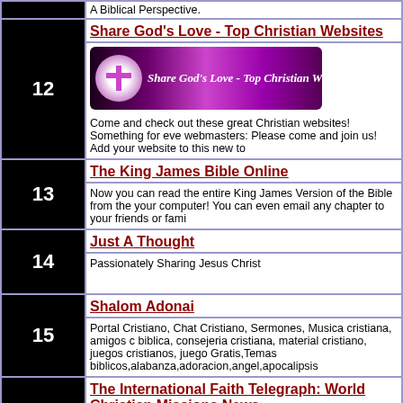A Biblical Perspective.
Share God's Love - Top Christian Websites
[Figure (illustration): Banner image for Share God's Love - Top Christian Websites with cross logo and purple gradient background]
Come and check out these great Christian websites! Something for every webmasters: Please come and join us! Add your website to this new to
The King James Bible Online
Now you can read the entire King James Version of the Bible from the your computer! You can even email any chapter to your friends or fami
Just A Thought
Passionately Sharing Jesus Christ
Shalom Adonai
Portal Cristiano, Chat Cristiano, Sermones, Musica cristiana, amigos c biblica, consejeria cristiana, material cristiano, juegos cristianos, juego Gratis,Temas biblicos,alabanza,adoracion,angel,apocalipsis
The International Faith Telegraph: World Christian Missions News
The latest and most unique Christian news stories from around the wo groundbreaking, worldchanging. Exclusive stories from a wide variety o news directly from missionaries around the world.